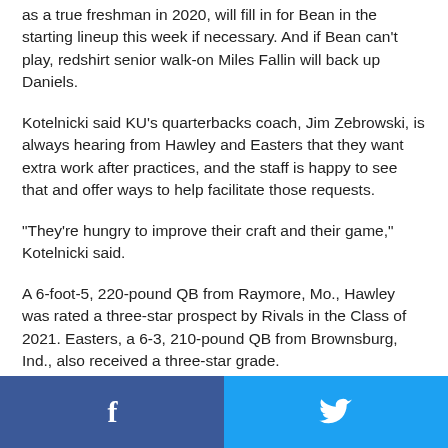as a true freshman in 2020, will fill in for Bean in the starting lineup this week if necessary. And if Bean can't play, redshirt senior walk-on Miles Fallin will back up Daniels.
Kotelnicki said KU’s quarterbacks coach, Jim Zebrowski, is always hearing from Hawley and Easters that they want extra work after practices, and the staff is happy to see that and offer ways to help facilitate those requests.
“They’re hungry to improve their craft and their game,” Kotelnicki said.
A 6-foot-5, 220-pound QB from Raymore, Mo., Hawley was rated a three-star prospect by Rivals in the Class of 2021. Easters, a 6-3, 210-pound QB from Brownsburg, Ind., also received a three-star grade.
Both QBs graduated from high school early and were able